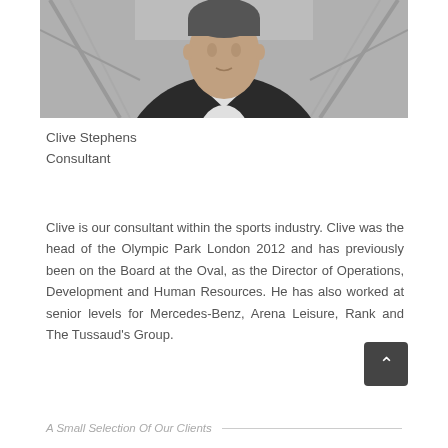[Figure (photo): Black and white photo of a man in a dark suit jacket with an open-collar white shirt, standing outdoors in front of what appears to be a stadium or arena structure with steel beams visible in the background.]
Clive Stephens
Consultant
Clive is our consultant within the sports industry. Clive was the head of the Olympic Park London 2012 and has previously been on the Board at the Oval, as the Director of Operations, Development and Human Resources. He has also worked at senior levels for Mercedes-Benz, Arena Leisure, Rank and The Tussaud's Group.
A Small Selection Of Our Clients